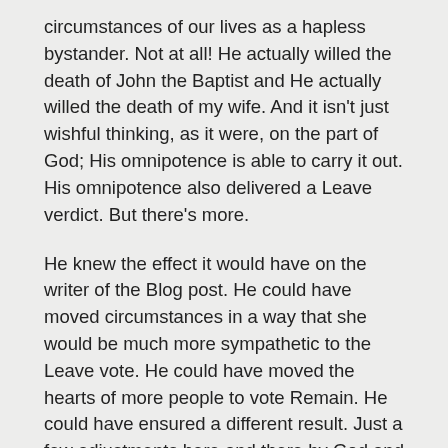circumstances of our lives as a hapless bystander. Not at all! He actually willed the death of John the Baptist and He actually willed the death of my wife. And it isn't just wishful thinking, as it were, on the part of God; His omnipotence is able to carry it out. His omnipotence also delivered a Leave verdict. But there's more.
He knew the effect it would have on the writer of the Blog post. He could have moved circumstances in a way that she would be much more sympathetic to the Leave vote. He could have moved the hearts of more people to vote Remain. He could have ensured a different result. Just a few adjustments here and there by God and there would have been a different result. He could even have moved her to vote Leave. In doing so she would not be experiencing 'an overwhelming